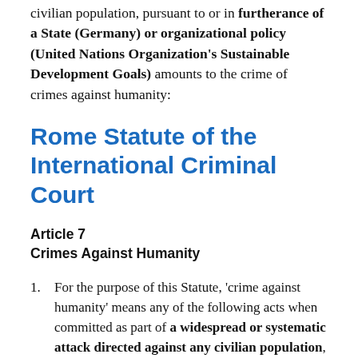civilian population, pursuant to or in furtherance of a State (Germany) or organizational policy (United Nations Organization's Sustainable Development Goals) amounts to the crime of crimes against humanity:
Rome Statute of the International Criminal Court
Article 7
Crimes Against Humanity
1. For the purpose of this Statute, 'crime against humanity' means any of the following acts when committed as part of a widespread or systematic attack directed against any civilian population, with knowledge of the attack: